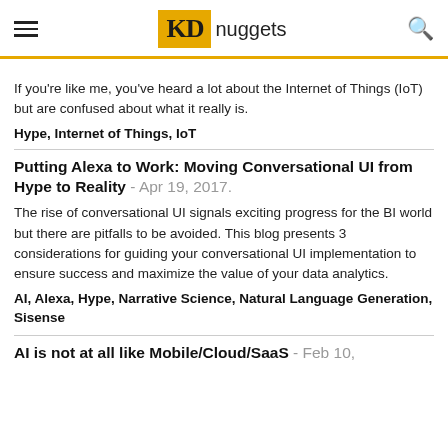KDnuggets
If you're like me, you've heard a lot about the Internet of Things (IoT) but are confused about what it really is.
Hype, Internet of Things, IoT
Putting Alexa to Work: Moving Conversational UI from Hype to Reality - Apr 19, 2017.
The rise of conversational UI signals exciting progress for the BI world but there are pitfalls to be avoided. This blog presents 3 considerations for guiding your conversational UI implementation to ensure success and maximize the value of your data analytics.
AI, Alexa, Hype, Narrative Science, Natural Language Generation, Sisense
AI is not at all like Mobile/Cloud/SaaS - Feb 10, 2017.